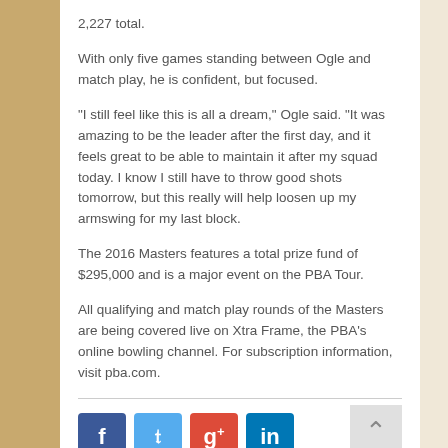2,227 total.
With only five games standing between Ogle and match play, he is confident, but focused.
"I still feel like this is all a dream," Ogle said. "It was amazing to be the leader after the first day, and it feels great to be able to maintain it after my squad today. I know I still have to throw good shots tomorrow, but this really will help loosen up my armswing for my last block.
The 2016 Masters features a total prize fund of $295,000 and is a major event on the PBA Tour.
All qualifying and match play rounds of the Masters are being covered live on Xtra Frame, the PBA's online bowling channel. For subscription information, visit pba.com.
[Figure (infographic): Social media share buttons: Facebook (blue), Twitter (light blue), Google+ (red), LinkedIn (dark blue), and a back-to-top button]